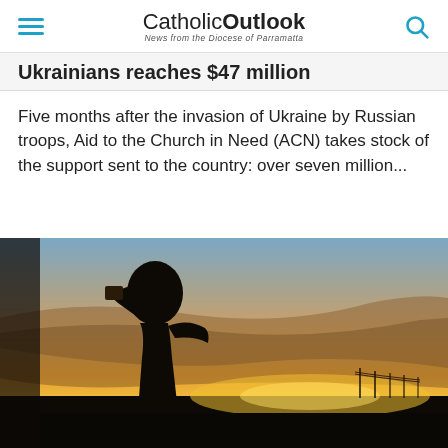CatholicOutlook — News from the Diocese of Parramatta
Ukrainians reaches $47 million
Five months after the invasion of Ukraine by Russian troops, Aid to the Church in Need (ACN) takes stock of the support sent to the country: over seven million...
[Figure (photo): Silhouette of a person against a dramatic sunset sky with orange and yellow hues, dark landscape and power lines in the background]